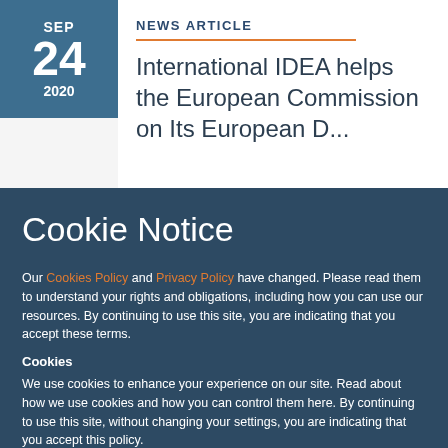SEP 24 2020
NEWS ARTICLE
International IDEA helps the European Commission on Its European D...
Cookie Notice
Our Cookies Policy and Privacy Policy have changed. Please read them to understand your rights and obligations, including how you can use our resources. By continuing to use this site, you are indicating that you accept these terms.
Cookies
We use cookies to enhance your experience on our site. Read about how we use cookies and how you can control them here. By continuing to use this site, without changing your settings, you are indicating that you accept this policy.
ACCEPT ALL COOKIES
SET PREFERENCES